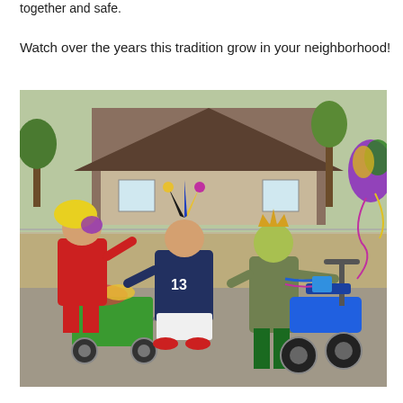together and safe.
Watch over the years this tradition grow in your neighborhood!
[Figure (photo): Children dressed in Mardi Gras costumes outdoors on a driveway. One child wears a yellow and purple wig with a red outfit. A second child in the center wears a Mardi Gras jester hat and a navy jersey with number 13, pulling a green wagon decorated with Mardi Gras beads and flowers. A third child wears a gold crown with face paint and stands next to a blue electric scooter decorated with beads. In the background is a house, chain-link fence, trees, and Mardi Gras decorations.]